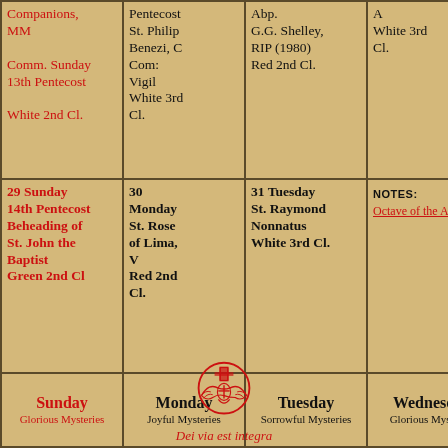| Col1 | Col2 | Col3 | Col4 |
| --- | --- | --- | --- |
| Companions, MM
Comm. Sunday 13th Pentecost
White 2nd Cl. | Pentecost
St. Philip Benezi, C
Com: Vigil
White 3rd Cl. | Abp.
G.G. Shelley, RIP (1980)
Red 2nd Cl. | A
White 3rd Cl. |
| 29 Sunday
14th Pentecost
Beheading of St. John the Baptist
Green 2nd Cl | 30
Monday
St. Rose of Lima, V
Red 2nd Cl. | 31 Tuesday
St. Raymond Nonnatus
White 3rd Cl. | NOTES:
Octave of the Assumption |
| Sunday
Glorious Mysteries | Monday
Joyful Mysteries | Tuesday
Sorrowful Mysteries | Wednesday
Glorious Mysteries |
[Figure (illustration): Circular religious emblem/seal with cross and eagle motif]
Dei via est integra